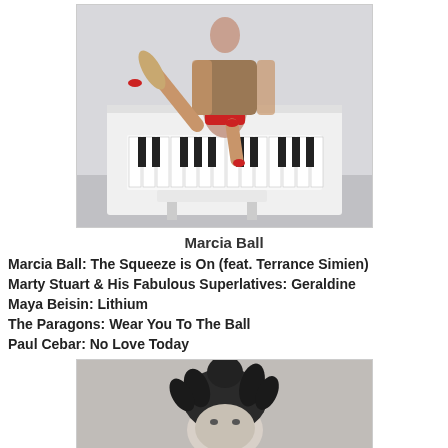[Figure (photo): Woman with tattoos wearing red skirt and red heels, posing on a white upright piano with one leg raised, in a white room with a piano bench visible.]
Marcia Ball
Marcia Ball: The Squeeze is On (feat. Terrance Simien)
Marty Stuart & His Fabulous Superlatives: Geraldine
Maya Beisin: Lithium
The Paragons: Wear You To The Ball
Paul Cebar: No Love Today
[Figure (photo): Black and white photo of a person with wild dark hair, partially visible at bottom of page.]